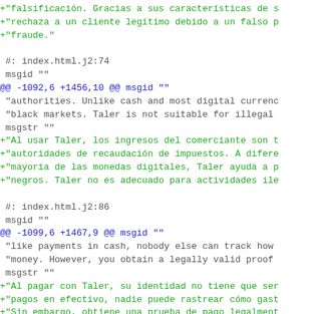+"falsificación. Gracias a sus características de s
+"rechaza a un cliente legítimo debido a un falso p
+"fraude."
#: index.html.j2:74
 msgid ""
@@ -1092,6 +1456,10 @@ msgid ""
 "authorities. Unlike cash and most digital currenc
 "black markets. Taler is not suitable for illegal
 msgstr ""
+"Al usar Taler, los ingresos del comerciante son t
+"autoridades de recaudación de impuestos. A difere
+"mayoría de las monedas digitales, Taler ayuda a p
+"negros. Taler no es adecuado para actividades ile
#: index.html.j2:86
 msgid ""
@@ -1099,6 +1467,9 @@ msgid ""
 "like payments in cash, nobody else can track how
 "money. However, you obtain a legally valid proof
 msgstr ""
+"Al pagar con Taler, su identidad no tiene que ser
+"pagos en efectivo, nadie puede rastrear cómo gast
+"Sin embargo, obtiene una prueba de pago legalment
#: index.html.j2:100
 msgid ""
@@ -1108,10 +1479,15 @@ msgid ""
 "href=\"http://www.gnu.org/\">GNU</a> package, it
 "software."